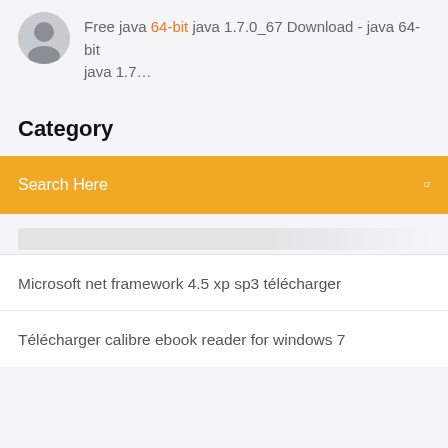Free java 64-bit java 1.7.0_67 Download - java 64-bit java 1.7...
Category
Search Here
Microsoft net framework 4.5 xp sp3 télécharger
Télécharger calibre ebook reader for windows 7